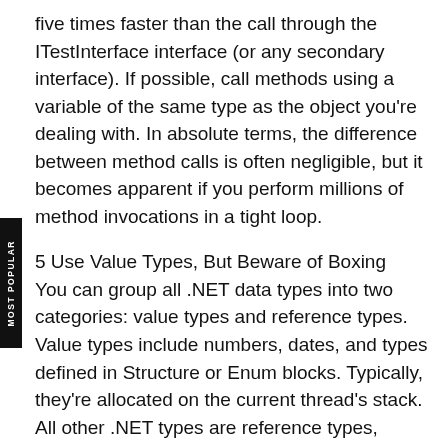five times faster than the call through the ITestInterface interface (or any secondary interface). If possible, call methods using a variable of the same type as the object you're dealing with. In absolute terms, the difference between method calls is often negligible, but it becomes apparent if you perform millions of method invocations in a tight loop.
5 Use Value Types, But Beware of Boxing
You can group all .NET data types into two categories: value types and reference types. Value types include numbers, dates, and types defined in Structure or Enum blocks. Typically, they're allocated on the current thread's stack. All other .NET types are reference types, allocated to a memory area known as the managed heap. Examples include strings, arrays, and types defined by means of Class blocks.